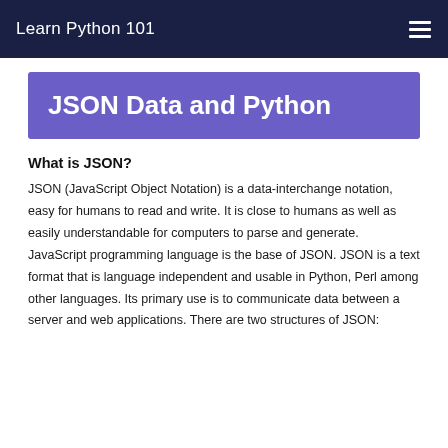Learn Python 101
JSON Data and Python
What is JSON?
JSON (JavaScript Object Notation) is a data-interchange notation, easy for humans to read and write. It is close to humans as well as easily understandable for computers to parse and generate. JavaScript programming language is the base of JSON. JSON is a text format that is language independent and usable in Python, Perl among other languages. Its primary use is to communicate data between a server and web applications. There are two structures of JSON: